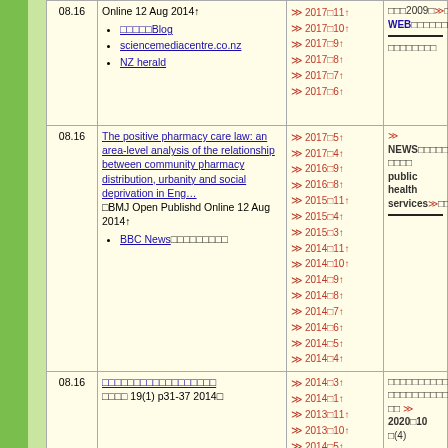| ID | Title/Source | Timeline | Notes/Links |
| --- | --- | --- | --- |
| 08.16 | Online 12 Aug 2014↑
[links: □□□□□Blog, sciencemediacentre.co.nz, NZ herald] | 2017□11↑ 2017□10↑ 2017□9↑ 2017□8↑ 2017□7↑ 2017□6↑ | □□□2009□ … WEB □□□□□□□□□□ |
| 08.16 | The positive pharmacy care law: an area-level analysis of the relationship between community pharmacy distribution, urbanity and social deprivation in Eng…
□BMJ Open Publishd Online 12 Aug 2014↑
[BBC News□□□□□□□□□] | 2017□5↑ 2017□4↑ 2016□9↑ 2016□8↑ 2015□11↑ 2015□4↑ 2015□3↑ 2014□11↑ 2014□10↑ 2014□9↑ 2014□8↑ 2014□7↑ 2014□6↑ 2014□5↑ 2014□4↑ | □ NEWS□□ … 89□□20□□ … public health services□□□□□□□□□□□□□□□□□□□□□ |
| 08.16 | □□□□□□□□□□□□□□□□□□
□□□□ 19(1) p31-37 2014□ | 2014□3↑ 2014□1↑ 2013□11↑ 2013□10↑ 2013□9↑ 2014□5↑ 2014□4↑ | □□□□□□□□□□□□□□□□ 2021JADER (1) □□ □ 2020□10 □(4) |
| 08.16 | A Review on the Traditional Chinese Medicinal Herbs and Formulae with Hypolipidemic Effect
□Biomed Res Int Published… | 2014□3↑ 2014□1↑ 2013□11↑ 2013□10↑ 2013□9↑ | □ 2020□8 □(2) □□□□□ 2020□7□□□□ □(1) □ 2020□6 □ |